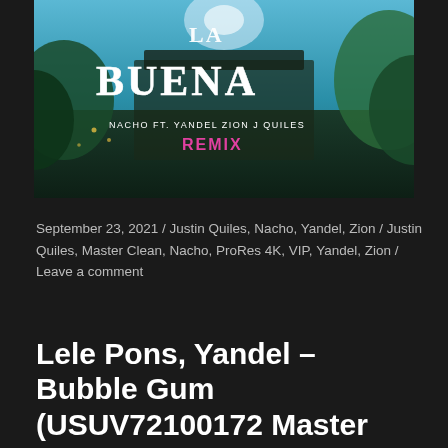[Figure (photo): Album art for 'La Buena' by Nacho ft. Yandel, Zion, J Quiles – Remix. Stylized text on a tropical outdoor background.]
September 23, 2021 / Justin Quiles, Nacho, Yandel, Zion / Justin Quiles, Master Clean, Nacho, ProRes 4K, VIP, Yandel, Zion / Leave a comment
Lele Pons, Yandel – Bubble Gum (USUV72100172 Master